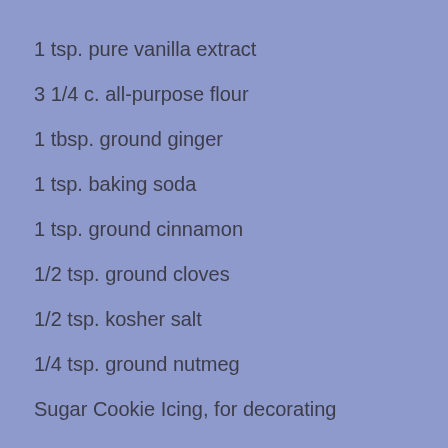1 tsp. pure vanilla extract
3 1/4 c. all-purpose flour
1 tbsp. ground ginger
1 tsp. baking soda
1 tsp. ground cinnamon
1/2 tsp. ground cloves
1/2 tsp. kosher salt
1/4 tsp. ground nutmeg
Sugar Cookie Icing, for decorating